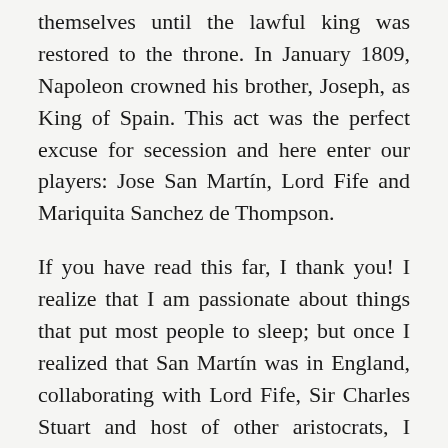themselves until the lawful king was restored to the throne. In January 1809, Napoleon crowned his brother, Joseph, as King of Spain. This act was the perfect excuse for secession and here enter our players: Jose San Martín, Lord Fife and Mariquita Sanchez de Thompson.
If you have read this far, I thank you! I realize that I am passionate about things that put most people to sleep; but once I realized that San Martín was in England, collaborating with Lord Fife, Sir Charles Stuart and host of other aristocrats, I couldn't get this idea out of my head. And when I discovered Mariquita Sanchez, I knew I had the makings of a wonderful story. Captain Wentworth was an easy choice and I proceeded to create the